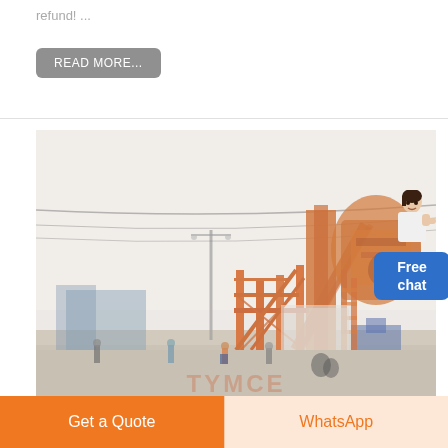refund! ...
READ MORE...
[Figure (photo): Industrial heavy machinery site with large orange metal conveyor/crusher structure, scaffolding, workers visible in foreground on dusty ground, foggy/hazy atmosphere, blue machinery in background]
Free chat
Get a Quote
WhatsApp